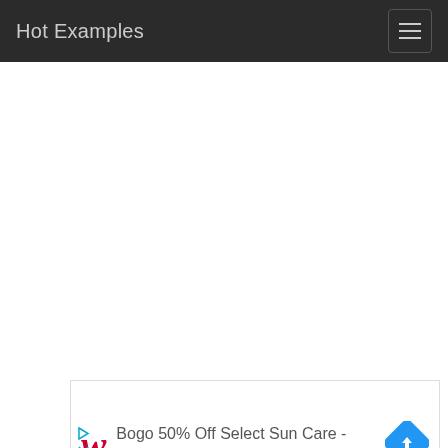Hot Examples
[Figure (screenshot): White empty content area below navigation bar]
[Figure (infographic): Advertisement banner: Walgreens logo (red cursive W), text 'Bogo 50% Off Select Sun Care - Save Today at Walgreens', blue diamond-shaped arrow icon on right, play and close buttons on left bottom]